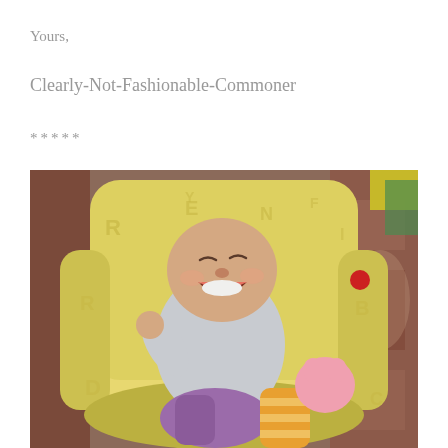Yours,
Clearly-Not-Fashionable-Commoner
*****
[Figure (photo): A laughing baby lying in a yellow fabric bouncer/chair with alphabet letters printed on it, holding colorful stuffed animal toys (purple, orange, and pink). The background shows a patterned rug/carpet.]